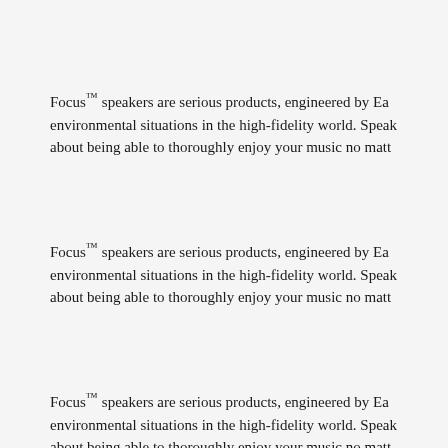Focus™ speakers are serious products, engineered by Ea environmental situations in the high-fidelity world. Speak about being able to thoroughly enjoy your music no matt
Focus™ speakers are serious products, engineered by Ea environmental situations in the high-fidelity world. Speak about being able to thoroughly enjoy your music no matt
Focus™ speakers are serious products, engineered by Ea environmental situations in the high-fidelity world. Speak about being able to thoroughly enjoy your music no matt